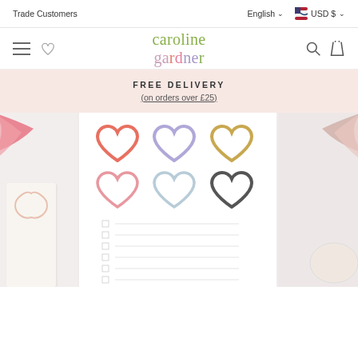Trade Customers | English | USD $
[Figure (logo): Caroline Gardner brand logo with colorful letters]
FREE DELIVERY
(on orders over £25)
[Figure (photo): Product carousel showing caroline gardner stationery items including a notepad with colorful hearts and lined pages]